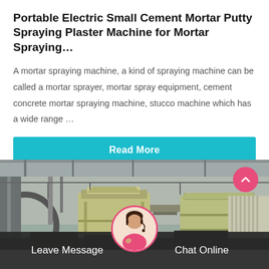Portable Electric Small Cement Mortar Putty Spraying Plaster Machine for Mortar Spraying…
A mortar spraying machine, a kind of spraying machine can be called a mortar sprayer, mortar spray equipment, cement concrete mortar spraying machine, stucco machine which has a wide range …
Read More
[Figure (photo): Industrial machinery photo showing heavy equipment including crushers or mills inside a factory/warehouse setting with metal framework and yellowish-painted machinery units.]
Leave Message   Chat Online